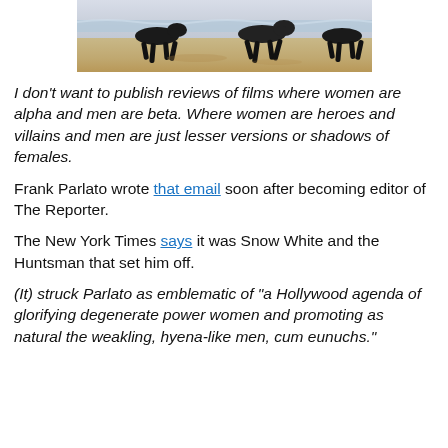[Figure (photo): Greyhound dogs running on a sandy beach with ocean waves in background, showing legs and lower bodies in motion]
I don't want to publish reviews of films where women are alpha and men are beta. Where women are heroes and villains and men are just lesser versions or shadows of females.
Frank Parlato wrote that email soon after becoming editor of The Reporter.
The New York Times says it was Snow White and the Huntsman that set him off.
(It) struck Parlato as emblematic of "a Hollywood agenda of glorifying degenerate power women and promoting as natural the weakling, hyena-like men, cum eunuchs."